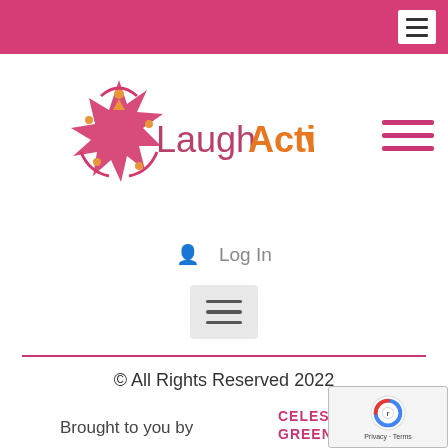[Figure (logo): Pink navigation bar at top of webpage with hamburger menu icon in white box on right]
[Figure (logo): LaughActive logo with stylized star/people figure in pink and orange, text 'LaughActive' in pink/orange, and pink hamburger menu icon on right]
Log In
[Figure (other): Gray hamburger menu button (three horizontal lines) centered on page]
© All Rights Reserved 2022
Brought to you by
[Figure (logo): Celeste Greene logo partially visible at bottom right]
[Figure (other): reCAPTCHA badge with Privacy and Terms text]